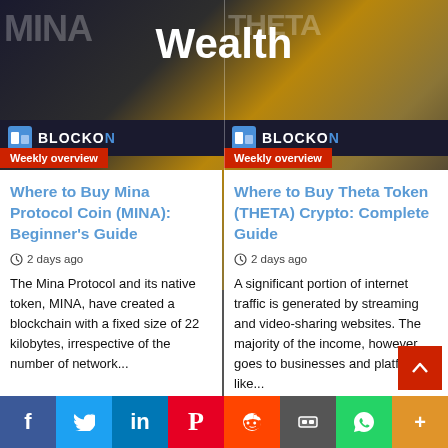Wealth
[Figure (screenshot): BlockOn Weekly overview badge - left column with MINA logo]
Weekly overview
Where to Buy Mina Protocol Coin (MINA): Beginner's Guide
2 days ago
The Mina Protocol and its native token, MINA, have created a blockchain with a fixed size of 22 kilobytes, irrespective of the number of network...
[Figure (screenshot): BlockOn Weekly overview badge - right column with THETA logo]
Weekly overview
Where to Buy Theta Token (THETA) Crypto: Complete Guide
2 days ago
A significant portion of internet traffic is generated by streaming and video-sharing websites. The majority of the income, however, goes to businesses and platforms like...
f  Twitter  in  P  Reddit  m  WhatsApp  +